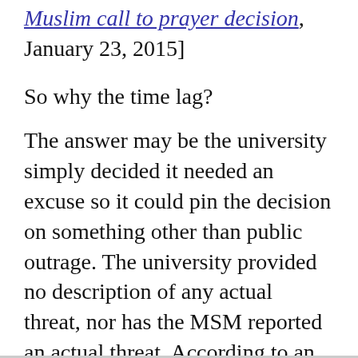Muslim call to prayer decision, January 23, 2015]
So why the time lag?
The answer may be the university simply decided it needed an excuse so it could pin the decision on something other than public outrage. The university provided no description of any actual threat, nor has the MSM reported an actual threat. According to an article from the Associated Press, Duke vice president Schoenfeld said there were "concerns about safety and security, but he declined to elaborate on whether any specific threats had been received" [Duke cancels Muslim call to prayer; cites opposition, safety, by Jonathan